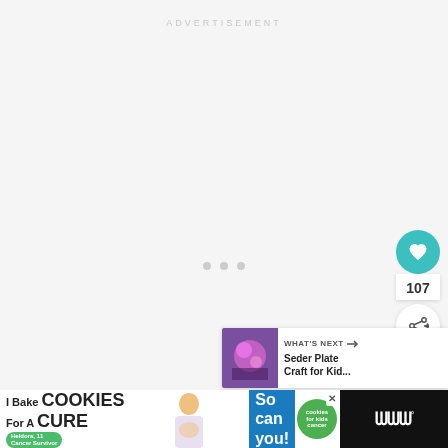ADVERTISEMENT
[Figure (screenshot): Loading indicator with three grey dots in the center of a light grey advertisement placeholder area]
[Figure (infographic): Heart/like button (teal circle with white heart icon), count 107, and share button (white circle with share icon)]
[Figure (infographic): What's Next panel showing thumbnail and text: WHAT'S NEXT -> Seder Plate Craft for Kid...]
[Figure (infographic): Bottom banner ad: I Bake COOKIES For A CURE - Heldora, 11 Cancer Survivor - So can you! - cookies for kids cancer logo, close button, site logo WWW with degree symbol]